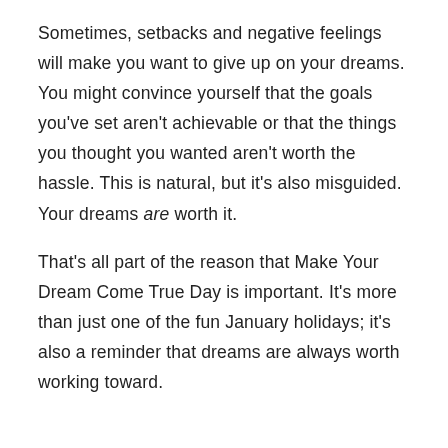Sometimes, setbacks and negative feelings will make you want to give up on your dreams. You might convince yourself that the goals you've set aren't achievable or that the things you thought you wanted aren't worth the hassle. This is natural, but it's also misguided. Your dreams are worth it.
That's all part of the reason that Make Your Dream Come True Day is important. It's more than just one of the fun January holidays; it's also a reminder that dreams are always worth working toward.